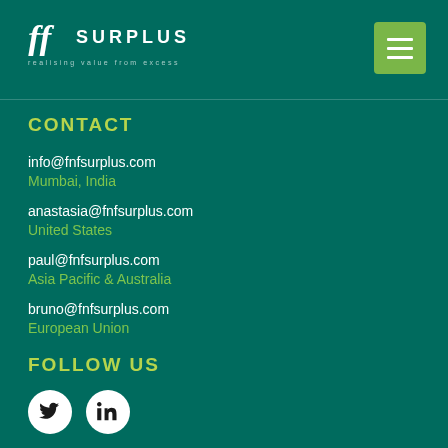[Figure (logo): FnF Surplus logo with stylized double-f script and tagline 'realising value from excess']
CONTACT
info@fnfsurplus.com
Mumbai, India
anastasia@fnfsurplus.com
United States
paul@fnfsurplus.com
Asia Pacific & Australia
bruno@fnfsurplus.com
European Union
FOLLOW US
[Figure (other): Twitter and LinkedIn social media icon buttons (white circles with dark icons)]